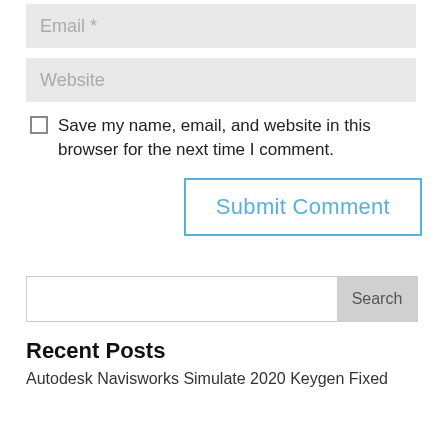Email *
Website
Save my name, email, and website in this browser for the next time I comment.
Submit Comment
Search
Recent Posts
Autodesk Navisworks Simulate 2020 Keygen Fixed